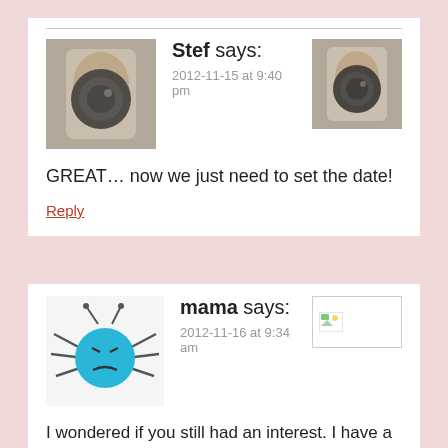[Figure (photo): Avatar photo of Stef holding a camera up to their face, reflected in a mirror]
Stef says:
2012-11-15 at 9:40 pm
[Figure (photo): Duplicate avatar photo of Stef holding a camera, on the right side]
GREAT… now we just need to set the date!
Reply
[Figure (illustration): Cartoon avatar of mama: a round blue face with angry expression and spider legs]
mama says:
2012-11-16 at 9:34 am
[Figure (photo): Small broken image placeholder on right side for mama comment]
I wondered if you still had an interest. I have a simple project to propose.
Hey, Readers, Offspring knits nicely, too! (g'ma b...)